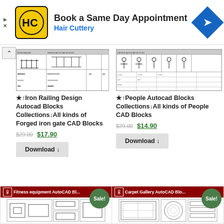[Figure (infographic): Hair Cuttery advertisement banner with logo, text 'Book a Same Day Appointment', 'Hair Cuttery', and a blue directional arrow icon]
[Figure (engineering-diagram): Iron Railing Design Autocad Blocks technical drawing showing railing layouts and specifications]
★↑Iron Railing Design Autocad Blocks Collections↓All kinds of Forged iron gate CAD Blocks
$29.00 $17.90
Download ↓
[Figure (engineering-diagram): People Autocad Blocks technical drawing showing human figure blocks and tables]
★↑People Autocad Blocks Collections↓All kinds of People CAD Blocks
$29.00 $14.90
Download ↓
[Figure (engineering-diagram): Fitness equipment AutoCAD blocks product thumbnail with Sale badge]
[Figure (engineering-diagram): Carpet Gallery AutoCAD Blocks product thumbnail with Sale badge]